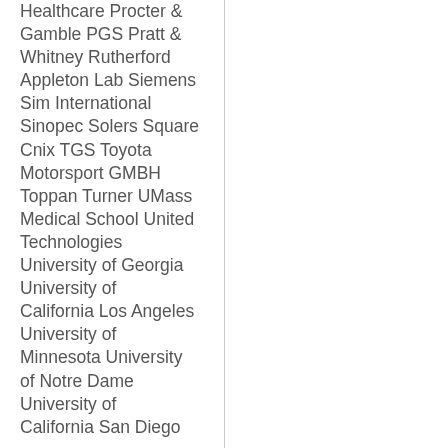Healthcare Procter & Gamble PGS Pratt & Whitney Rutherford Appleton Lab Siemens Sim International Sinopec Solers Square Cnix TGS Toyota Motorsport GMBH Toppan Turner UMass Medical School United Technologies University of Georgia University of California Los Angeles University of Minnesota University of Notre Dame University of California San Diego